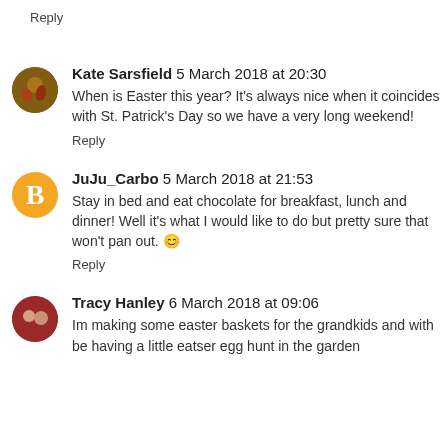Reply
Kate Sarsfield  5 March 2018 at 20:30
When is Easter this year? It's always nice when it coincides with St. Patrick's Day so we have a very long weekend!
Reply
JuJu_Carbo  5 March 2018 at 21:53
Stay in bed and eat chocolate for breakfast, lunch and dinner! Well it's what I would like to do but pretty sure that won't pan out. 😄
Reply
Tracy Hanley  6 March 2018 at 09:06
Im making some easter baskets for the grandkids and with be having a little eatser egg hunt in the garden